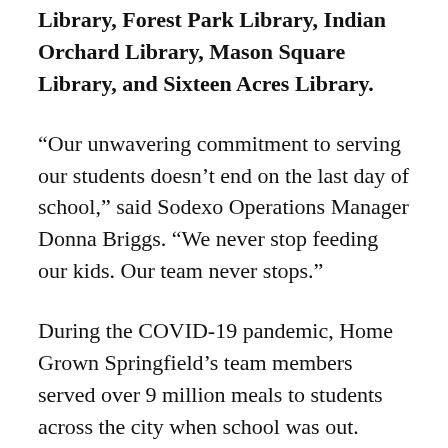Library, Forest Park Library, Indian Orchard Library, Mason Square Library, and Sixteen Acres Library.
“Our unwavering commitment to serving our students doesn’t end on the last day of school,” said Sodexo Operations Manager Donna Briggs. “We never stop feeding our kids. Our team never stops.”
During the COVID-19 pandemic, Home Grown Springfield’s team members served over 9 million meals to students across the city when school was out.
Children do not need to be from Springfield or attend Springfield Public Schools to be